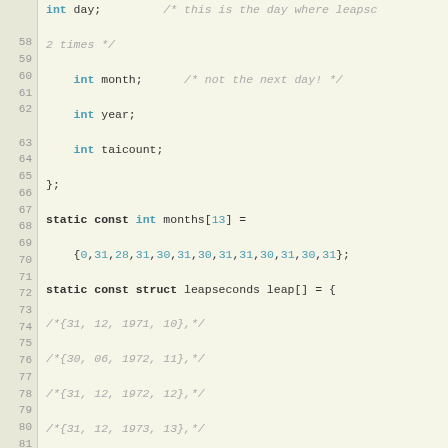[Figure (screenshot): Source code listing in C showing a struct definition with leapseconds data, lines 57-85, displayed in a code editor with line numbers, syntax highlighting (keywords in bold, types/numbers in teal, comments in gray italic)]